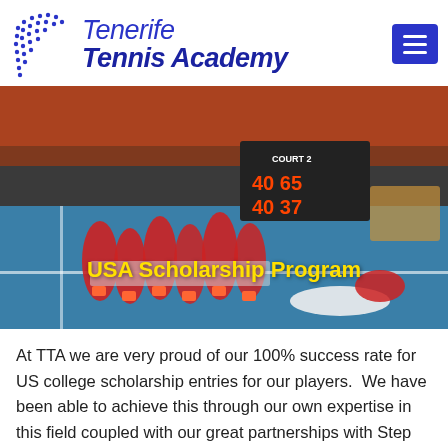[Figure (logo): Tenerife Tennis Academy logo with dot pattern graphic and blue italic text]
[Figure (photo): Women's college tennis team celebrating on a blue hard court, scoreboard reading COURT 2 in background, crowd in orange and red in stands]
USA Scholarship Program
At TTA we are very proud of our 100% success rate for US college scholarship entries for our players.  We have been able to achieve this through our own expertise in this field coupled with our great partnerships with Step and Stri...